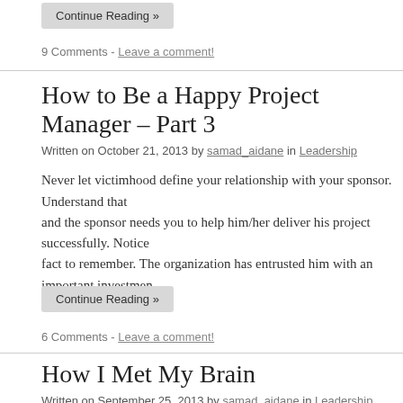Continue Reading »
9 Comments - Leave a comment!
How to Be a Happy Project Manager – Part 3
Written on October 21, 2013 by samad_aidane in Leadership
Never let victimhood define your relationship with your sponsor. Understand that and the sponsor needs you to help him/her deliver his project successfully. Notice fact to remember. The organization has entrusted him with an important investment
Continue Reading »
6 Comments - Leave a comment!
How I Met My Brain
Written on September 25, 2013 by samad_aidane in Leadership
The first time I met my brain was 15 years ago, when the doctor showed me MRI head, causing me unbearable pain, and threatening my life. After a successful ope